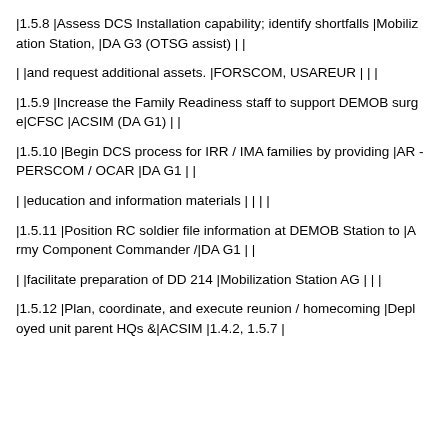|1.5.8 |Assess DCS Installation capability; identify shortfalls |Mobilization Station, |DA G3 (OTSG assist) | |
| |and request additional assets. |FORSCOM, USAREUR | | |
|1.5.9 |Increase the Family Readiness staff to support DEMOB surge|CFSC |ACSIM (DA G1) | |
|1.5.10 |Begin DCS process for IRR / IMA families by providing |AR-PERSCOM / OCAR |DA G1 | |
| |education and information materials | | | |
|1.5.11 |Position RC soldier file information at DEMOB Station to |Army Component Commander /|DA G1 | |
| |facilitate preparation of DD 214 |Mobilization Station AG | | |
|1.5.12 |Plan, coordinate, and execute reunion / homecoming |Deployed unit parent HQs &|ACSIM |1.4.2, 1.5.7 |